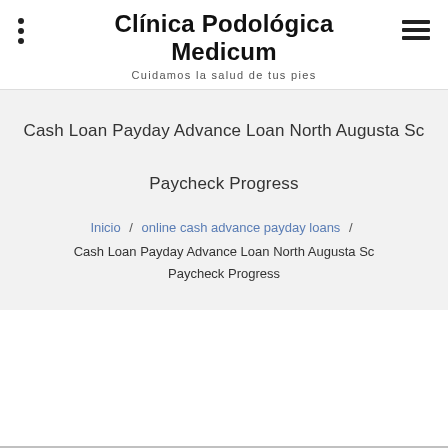Clínica Podológica Medicum
Cuidamos la salud de tus pies
Cash Loan Payday Advance Loan North Augusta Sc Paycheck Progress
Inicio / online cash advance payday loans / Cash Loan Payday Advance Loan North Augusta Sc Paycheck Progress